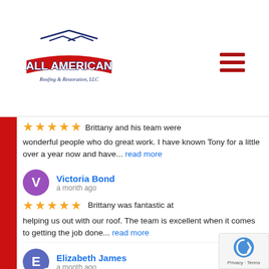[Figure (logo): All American Roofing & Restoration, LLC logo with house/roof graphic and red banner]
Brittany and his team were wonderful people who do great work. I have known Tony for a little over a year now and have... read more
Victoria Bond
a month ago
Brittany was fantastic at helping us out with our roof. The team is excellent when it comes to getting the job done... read more
Elizabeth James
a month ago
Very happy, they did a great job! My insurance did not want to pay the damages and they fought it until they did!... read more